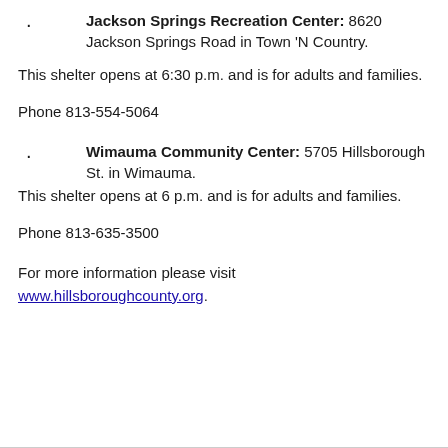Jackson Springs Recreation Center: 8620 Jackson Springs Road in Town 'N Country.
This shelter opens at 6:30 p.m. and is for adults and families.
Phone 813-554-5064
Wimauma Community Center: 5705 Hillsborough St. in Wimauma.
This shelter opens at 6 p.m. and is for adults and families.
Phone 813-635-3500
For more information please visit www.hillsboroughcounty.org.